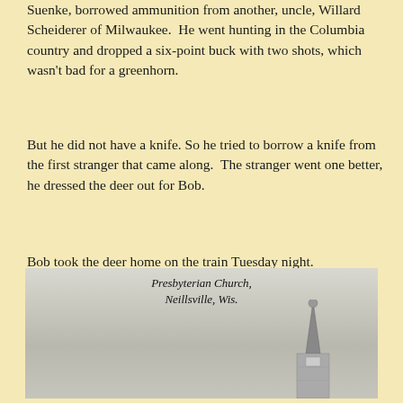Suenke, borrowed ammunition from another, uncle, Willard Scheiderer of Milwaukee.  He went hunting in the Columbia country and dropped a six-point buck with two shots, which wasn't bad for a greenhorn.
But he did not have a knife. So he tried to borrow a knife from the first stranger that came along.  The stranger went one better, he dressed the deer out for Bob.
Bob took the deer home on the train Tuesday night.
Incidentally, he did put up the money himself for the hunting license and deer tag.
[Figure (photo): Black and white photograph of the Presbyterian Church steeple in Neillsville, Wis. The church steeple rises prominently against a grey sky.]